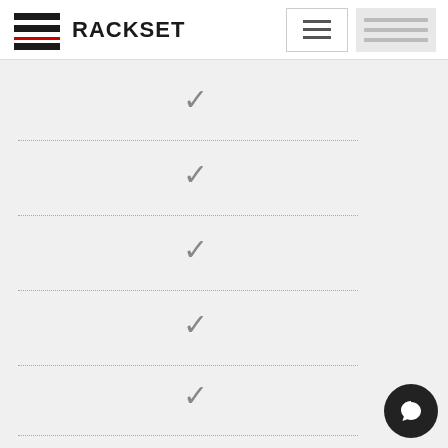RACKSET
[Figure (screenshot): Rackset website screenshot showing a header with logo (horizontal line icon with red accent and RACKSET text), a hamburger menu button, a menu preview panel, and a content area with repeating checkmark icons separated by dotted horizontal lines, plus a dark chat bubble icon in the bottom right corner.]